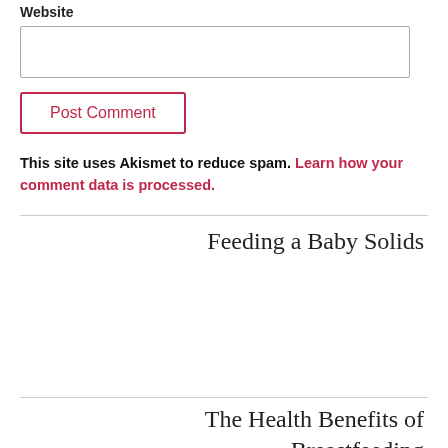Website
Post Comment
This site uses Akismet to reduce spam. Learn how your comment data is processed.
Feeding a Baby Solids
The Health Benefits of Breastfeeding